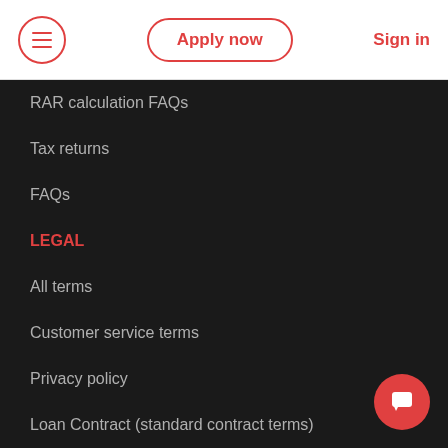Apply now  Sign in
RAR calculation FAQs
Tax returns
FAQs
LEGAL
All terms
Customer service terms
Privacy policy
Loan Contract (standard contract terms)
Disclosure statement
Unforeseen financial hardship
Cancellation provision